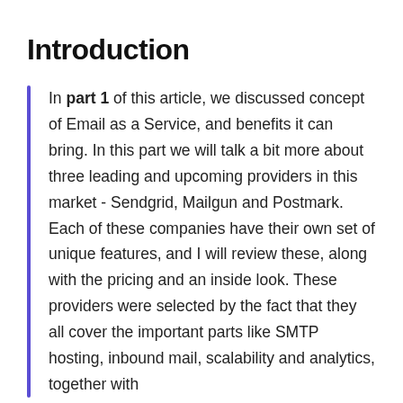Introduction
In part 1 of this article, we discussed concept of Email as a Service, and benefits it can bring. In this part we will talk a bit more about three leading and upcoming providers in this market - Sendgrid, Mailgun and Postmark. Each of these companies have their own set of unique features, and I will review these, along with the pricing and an inside look. These providers were selected by the fact that they all cover the important parts like SMTP hosting, inbound mail, scalability and analytics, together with